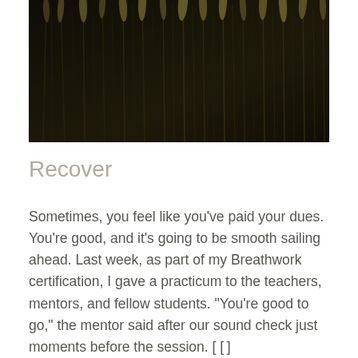[Figure (photo): Dark moody photograph of wheat or grain stalks in a field, with golden tips visible against a very dark background]
Recover
Sometimes, you feel like you’ve paid your dues. You’re good, and it’s going to be smooth sailing ahead. Last week, as part of my Breathwork certification, I gave a practicum to the teachers, mentors, and fellow students. “You’re good to go,” the mentor said after our sound check just moments before the session. [ [ . ]